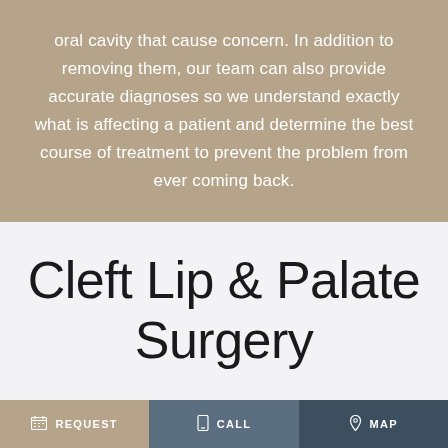oral cavity that cause concern. In addition to removing them, our team can also provide accurate diagnoses so we understand exactly what is affecting a patient and determine the best course of treatment to prevent the problem from ever coming back.
Cleft Lip & Palate Surgery
[Figure (photo): Close-up photo strip showing skin texture, likely a facial/lip area relevant to cleft lip surgery]
REQUEST  CALL  MAP